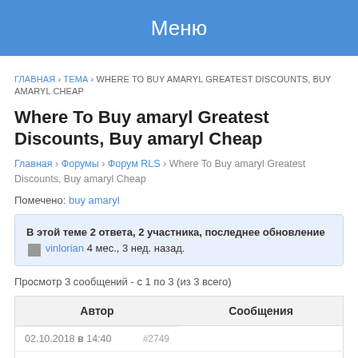Меню
ГЛАВНАЯ › ТЕМА › WHERE TO BUY AMARYL GREATEST DISCOUNTS, BUY AMARYL CHEAP
Where To Buy amaryl Greatest Discounts, Buy amaryl Cheap
Главная › Форумы › Форум RLS › Where To Buy amaryl Greatest Discounts, Buy amaryl Cheap
Помечено: buy amaryl
В этой теме 2 ответа, 2 участника, последнее обновление vinlorian 4 мес., 3 нед. назад.
Просмотр 3 сообщений - с 1 по 3 (из 3 всего)
| Автор | Сообщения |
| --- | --- |
| 02.10.2018 в 14:40 | #2749 |
| fritzwoodruff |  |